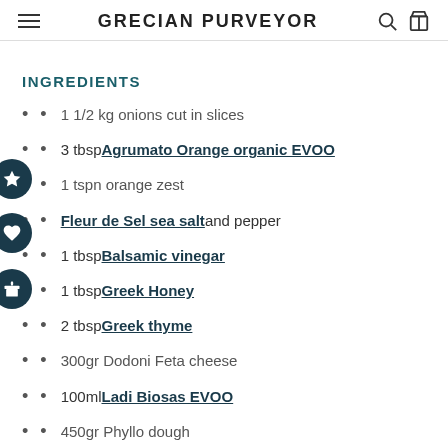GRECIAN PURVEYOR
INGREDIENTS
1 1/2 kg onions cut in slices
3 tbsp Agrumato Orange organic EVOO
1 tspn orange zest
Fleur de Sel sea salt and pepper
1 tbsp Balsamic vinegar
1 tbsp Greek Honey
2 tbsp Greek thyme
300gr Dodoni Feta cheese
100ml Ladi Biosas EVOO
450gr Phyllo dough